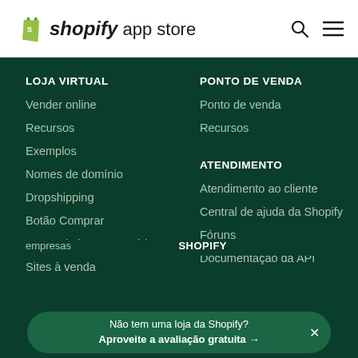[Figure (logo): Shopify App Store logo with green shopping bag icon and 'shopify app store' text]
LOJA VIRTUAL
Vender online
Recursos
Exemplos
Nomes de domínio
Dropshipping
Botão Comprar
Banco de imagens grátis
Sites à venda
PONTO DE VENDA
Ponto de venda
Recursos
ATENDIMENTO
Atendimento ao cliente
Central de ajuda da Shopify
Fóruns
Documentação da API
Não tem uma loja da Shopify? Aproveite a avaliação gratuita →
empresas
SHOPIFY